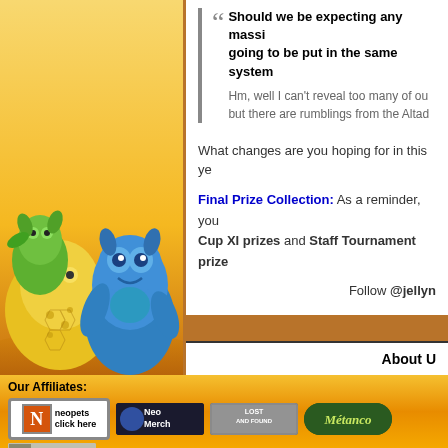[Figure (illustration): Neopets characters illustration - green and blue creatures on orange/yellow gradient background]
"Should we be expecting any massi... going to be put in the same system...
Hm, well I can't reveal too many of ou... but there are rumblings from the Altad...
What changes are you hoping for in this ye...
Final Prize Collection: As a reminder, you... Cup XI prizes and Staff Tournament prize...
Follow @jellyn...
About U...
Our Affiliates:
[Figure (logo): Neopets click here affiliate badge]
[Figure (logo): NeoMerch affiliate badge]
[Figure (logo): Lost and Found affiliate badge]
[Figure (logo): Metanco affiliate badge]
[Figure (logo): Neopetshive affiliate badge]